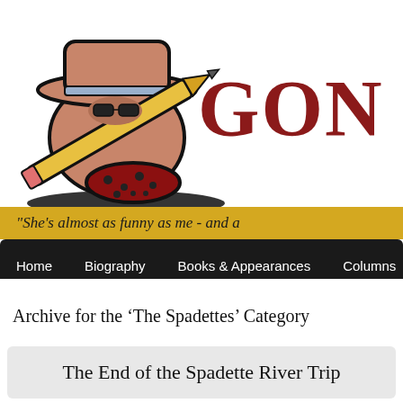[Figure (illustration): A cartoon animal (groundhog or similar creature) wearing a cowboy hat and holding a large pencil, drawn in a comic style with black outlines, pink/brown coloring and a red polka-dot shoe. Black shadow beneath.]
GON
“She’s almost as funny as me - and a
Home   Biography   Books & Appearances   Columns   Me
Archive for the ‘The Spadettes’ Category
The End of the Spadette River Trip